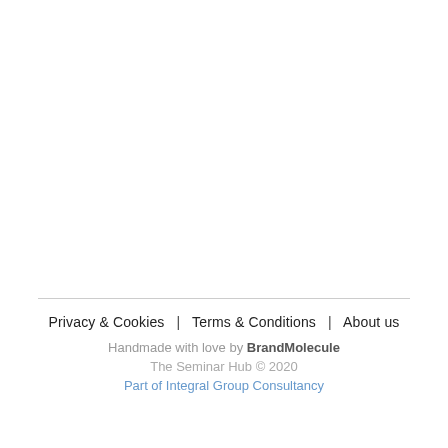Privacy & Cookies  |  Terms & Conditions  |  About us
Handmade with love by BrandMolecule
The Seminar Hub © 2020
Part of Integral Group Consultancy